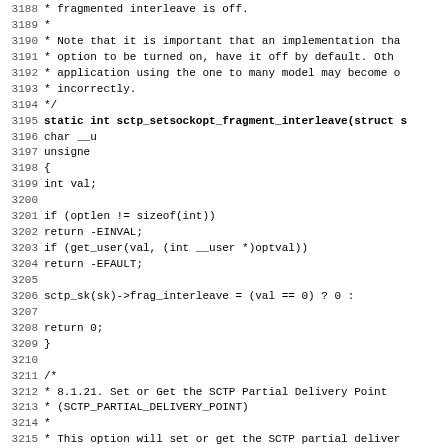Source code listing lines 3188-3219, showing C implementation of sctp_setsockopt_fragment_interleave and beginning of comment for 8.1.21 Set or Get the SCTP Partial Delivery Point